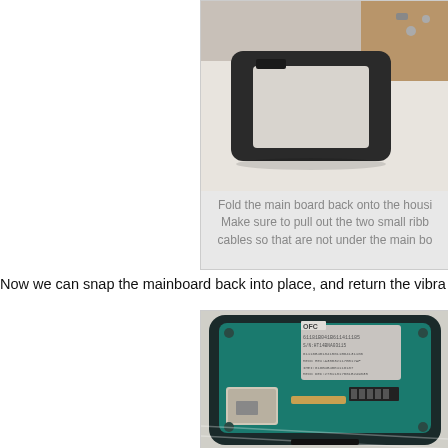[Figure (photo): Photo of a smartphone phone housing frame (disassembled), rectangular black frame with open center, placed on a white surface with screws or small parts nearby.]
Fold the main board back onto the housing. Make sure to pull out the two small ribbon cables so that are not under the main board.
Now we can snap the mainboard back into place, and return the vibra...
[Figure (photo): Photo of a smartphone mainboard/PCB with SIM card slot, various chips, connectors, and labels (MEID, serial numbers visible), seated inside the phone housing.]